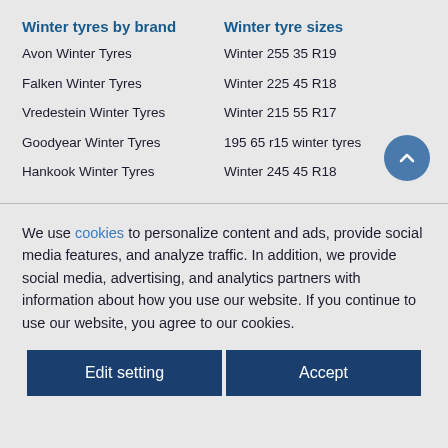Winter tyres by brand
Winter tyre sizes
Avon Winter Tyres
Winter 255 35 R19
Falken Winter Tyres
Winter 225 45 R18
Vredestein Winter Tyres
Winter 215 55 R17
Goodyear Winter Tyres
195 65 r15 winter tyres
Hankook Winter Tyres
Winter 245 45 R18
We use cookies to personalize content and ads, provide social media features, and analyze traffic. In addition, we provide social media, advertising, and analytics partners with information about how you use our website. If you continue to use our website, you agree to our cookies.
Edit setting
Accept